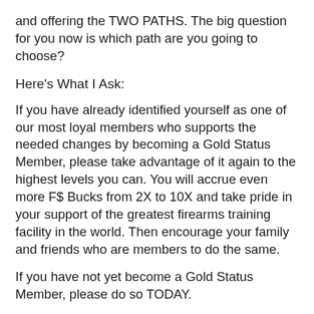and offering the TWO PATHS. The big question for you now is which path are you going to choose?
Here's What I Ask:
If you have already identified yourself as one of our most loyal members who supports the needed changes by becoming a Gold Status Member, please take advantage of it again to the highest levels you can. You will accrue even more F$ Bucks from 2X to 10X and take pride in your support of the greatest firearms training facility in the world. Then encourage your family and friends who are members to do the same.
If you have not yet become a Gold Status Member, please do so TODAY.
I want to complete my plan to transition Front Sight Firearms Training Institute to member-owned and governed for all present and current participants th…